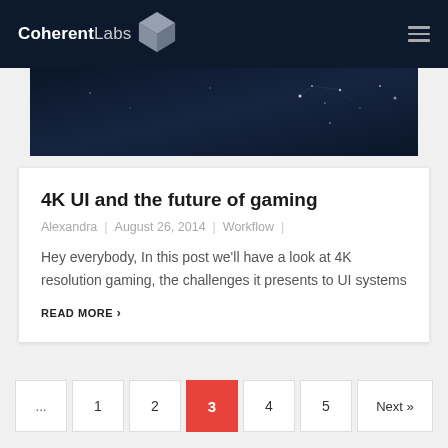CoherentLabs
[Figure (photo): Dark blue/navy hero banner image with subtle star/particle effects]
4K UI and the future of gaming
Alexandra | August 26, 2014 | Workflow |
Hey everybody, In this post we'll have a look at 4K resolution gaming, the challenges it presents to UI systems
READ MORE >
... 1 2 3 4 5 Next »